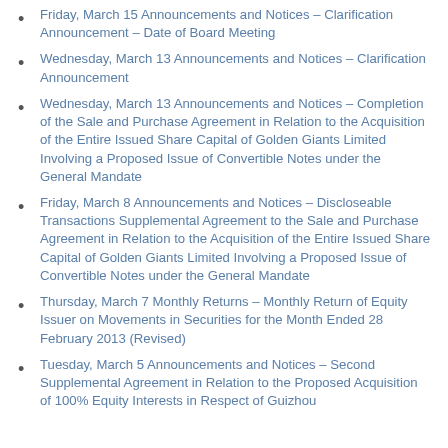Friday, March 15 Announcements and Notices – Clarification Announcement – Date of Board Meeting
Wednesday, March 13 Announcements and Notices – Clarification Announcement
Wednesday, March 13 Announcements and Notices – Completion of the Sale and Purchase Agreement in Relation to the Acquisition of the Entire Issued Share Capital of Golden Giants Limited Involving a Proposed Issue of Convertible Notes under the General Mandate
Friday, March 8 Announcements and Notices – Discloseable Transactions Supplemental Agreement to the Sale and Purchase Agreement in Relation to the Acquisition of the Entire Issued Share Capital of Golden Giants Limited Involving a Proposed Issue of Convertible Notes under the General Mandate
Thursday, March 7 Monthly Returns – Monthly Return of Equity Issuer on Movements in Securities for the Month Ended 28 February 2013 (Revised)
Tuesday, March 5 Announcements and Notices – Second Supplemental Agreement in Relation to the Proposed Acquisition of 100% Equity Interests in Respect of Guizhou